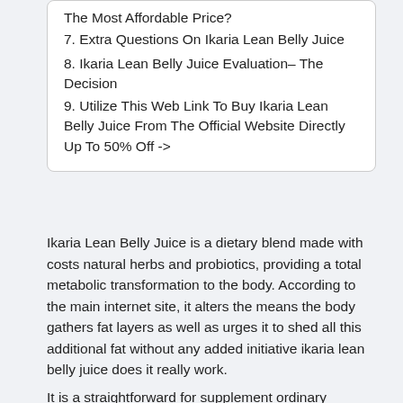The Most Affordable Price?
7. Extra Questions On Ikaria Lean Belly Juice
8. Ikaria Lean Belly Juice Evaluation– The Decision
9. Utilize This Web Link To Buy Ikaria Lean Belly Juice From The Official Website Directly Up To 50% Off ->
Ikaria Lean Belly Juice is a dietary blend made with costs natural herbs and probiotics, providing a total metabolic transformation to the body. According to the main internet site, it alters the means the body gathers fat layers as well as urges it to shed all this additional fat without any added initiative ikaria lean belly juice does it really work.
It is a straightforward supplement ordinary initiative to fully